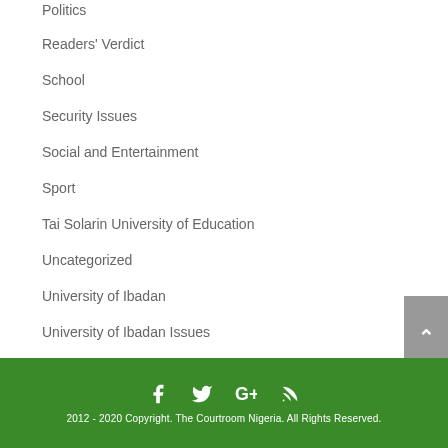Politics
Readers' Verdict
School
Security Issues
Social and Entertainment
Sport
Tai Solarin University of Education
Uncategorized
University of Ibadan
University of Ibadan Issues
University of Ilorin
2012 - 2020 Copyright. The Courtroom Nigeria. All Rights Reserved.